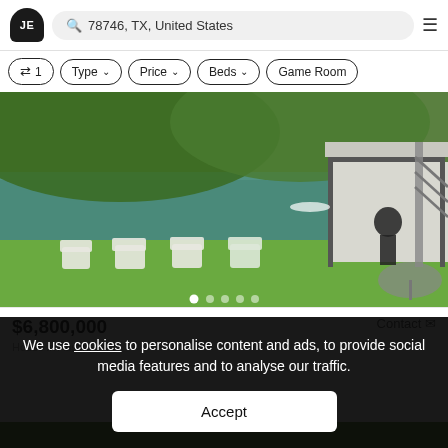JE | 78746, TX, United States
≋ 1 | Type ∨ | Price ∨ | Beds ∨ | Game Room
[Figure (photo): Lakefront property photo showing white Adirondack chairs on grass lawn by green water, with a boathouse structure and metal staircase, trees in background]
$6,800,000   Contact
House in Austin, TX
We use cookies to personalise content and ads, to provide social media features and to analyse our traffic.
Accept